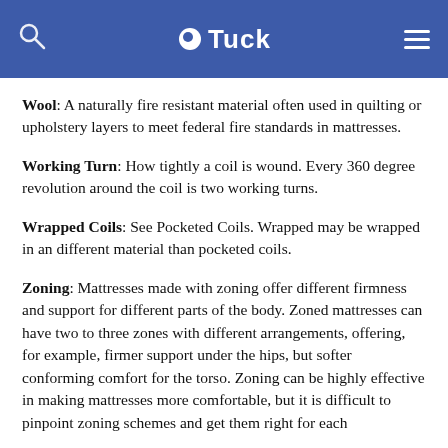Tuck
Wool: A naturally fire resistant material often used in quilting or upholstery layers to meet federal fire standards in mattresses.
Working Turn: How tightly a coil is wound. Every 360 degree revolution around the coil is two working turns.
Wrapped Coils: See Pocketed Coils. Wrapped may be wrapped in an different material than pocketed coils.
Zoning: Mattresses made with zoning offer different firmness and support for different parts of the body. Zoned mattresses can have two to three zones with different arrangements, offering, for example, firmer support under the hips, but softer conforming comfort for the torso. Zoning can be highly effective in making mattresses more comfortable, but it is difficult to pinpoint zoning schemes and get them right for each